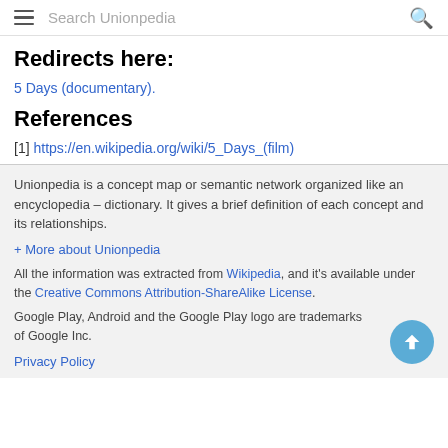Search Unionpedia
Redirects here:
5 Days (documentary).
References
[1] https://en.wikipedia.org/wiki/5_Days_(film)
Unionpedia is a concept map or semantic network organized like an encyclopedia – dictionary. It gives a brief definition of each concept and its relationships.
+ More about Unionpedia
All the information was extracted from Wikipedia, and it's available under the Creative Commons Attribution-ShareAlike License.
Google Play, Android and the Google Play logo are trademarks of Google Inc.
Privacy Policy